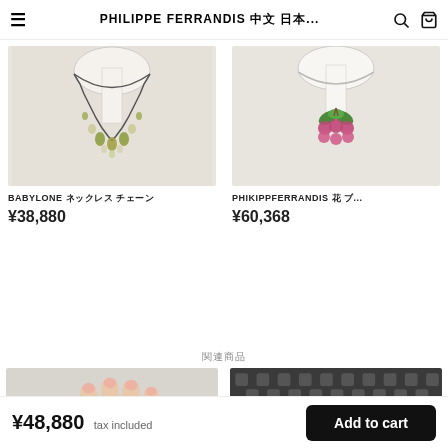PHILIPPE FERRANDIS 公式オンライン ショ... (search) (cart)
[Figure (photo): BABYLONE necklace with green and crystal gem drops on a white display stand, dark gunmetal chain]
BABYLONE ネックレス チェーン
¥38,880
[Figure (photo): PHIKIPPFERRANDIS cherry floral brooch necklace with pink and green crystals on a white display stand]
PHIKIPPFERRANDIS 花 ブ...
¥60,368
関連商品
[Figure (photo): Hand wearing a red gemstone ring on a light textured background]
[Figure (photo): Multiple gold rings with colorful gemstones (amber, white crystal, purple, red) on a dark geometric patterned fabric]
¥48,880 tax included   Add to cart